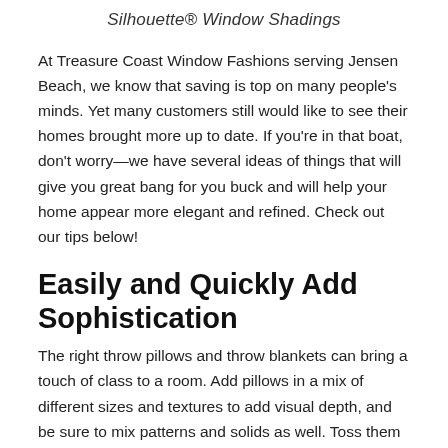Silhouette® Window Shadings
At Treasure Coast Window Fashions serving Jensen Beach, we know that saving is top on many people's minds. Yet many customers still would like to see their homes brought more up to date. If you're in that boat, don't worry—we have several ideas of things that will give you great bang for you buck and will help your home appear more elegant and refined. Check out our tips below!
Easily and Quickly Add Sophistication
The right throw pillows and throw blankets can bring a touch of class to a room. Add pillows in a mix of different sizes and textures to add visual depth, and be sure to mix patterns and solids as well. Toss them on sofas, side